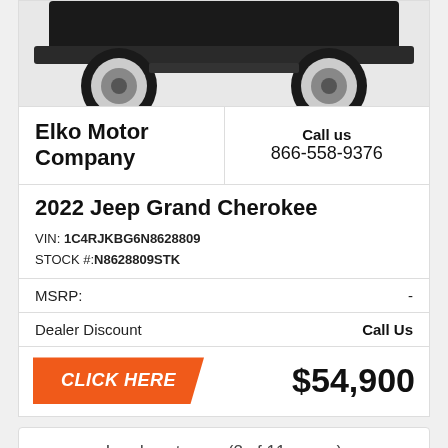[Figure (photo): Partial bottom view of a Jeep Grand Cherokee vehicle (wheels and lower body visible), black and white/gray tones.]
Elko Motor Company
Call us 866-558-9376
2022 Jeep Grand Cherokee
VIN: 1C4RJKBG6N8628809
STOCK #: N8628809STK
MSRP: -
Dealer Discount   Call Us
CLICK HERE   $54,900
Load next page (2 of 11 pages)
[Figure (logo): Dark blue oval/elongated shape logo]
Top